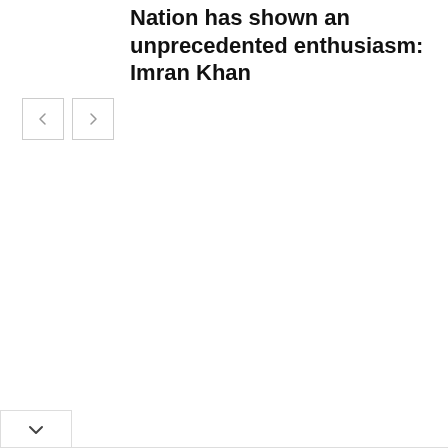Nation has shown an unprecedented enthusiasm: Imran Khan
[Figure (other): Navigation previous and next arrow buttons (carousel controls)]
[Figure (other): Dropdown expand button with chevron down arrow at bottom of page]